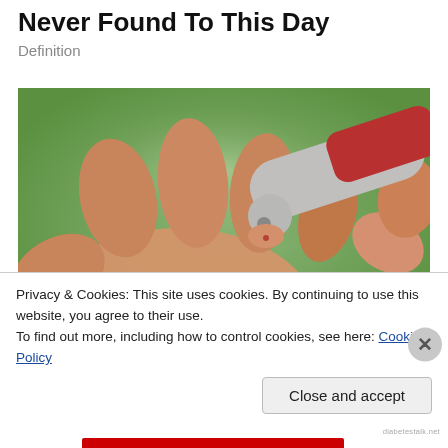Never Found To This Day
Definition
[Figure (photo): Close-up photo of a lancing device being used to prick a finger for blood glucose testing, with a green background.]
Privacy & Cookies: This site uses cookies. By continuing to use this website, you agree to their use.
To find out more, including how to control cookies, see here: Cookie Policy
Close and accept